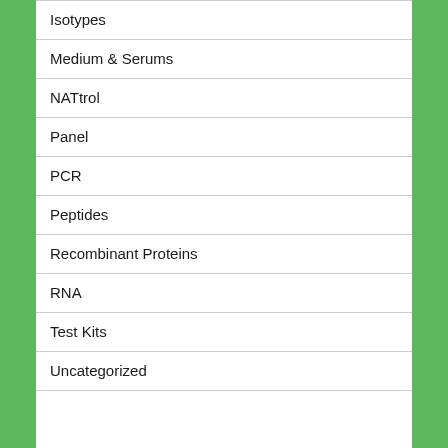Isotypes
Medium & Serums
NATtrol
Panel
PCR
Peptides
Recombinant Proteins
RNA
Test Kits
Uncategorized